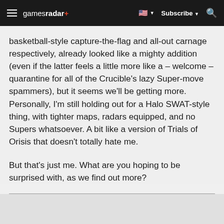gamesradar+  Subscribe
basketball-style capture-the-flag and all-out carnage respectively, already looked like a mighty addition (even if the latter feels a little more like a – welcome – quarantine for all of the Crucible's lazy Super-move spammers), but it seems we'll be getting more. Personally, I'm still holding out for a Halo SWAT-style thing, with tighter maps, radars equipped, and no Supers whatsoever. A bit like a version of Trials of Orisis that doesn't totally hate me.
But that's just me. What are you hoping to be surprised with, as we find out more?